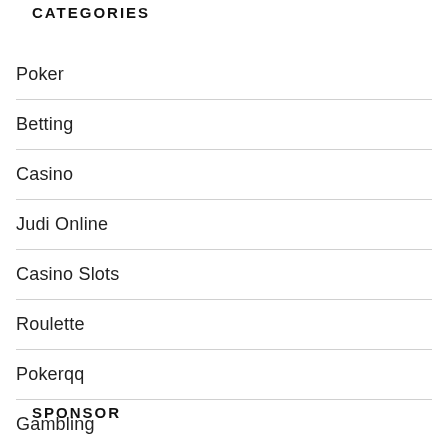CATEGORIES
Poker
Betting
Casino
Judi Online
Casino Slots
Roulette
Pokerqq
Gambling
SPONSOR